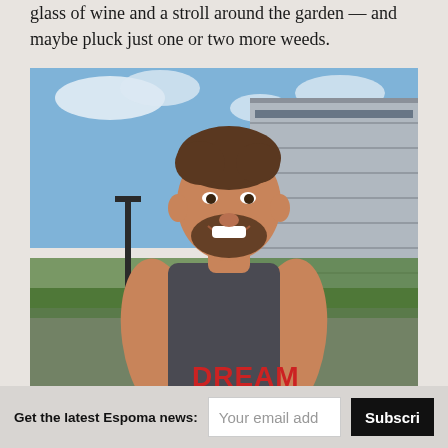glass of wine and a stroll around the garden — and maybe pluck just one or two more weeds.
[Figure (photo): A smiling young man with a beard wearing a dark grey and red sleeveless 'DREAM' tank top, standing outdoors in front of a large grey industrial building with greenery and a garden in the background on a sunny day.]
Get the latest Espoma news: Your email add Subscribe